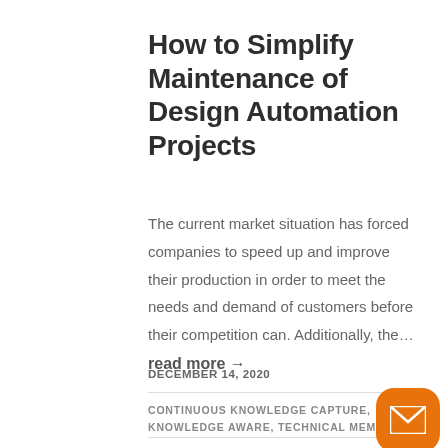How to Simplify Maintenance of Design Automation Projects
The current market situation has forced companies to speed up and improve their production in order to meet the needs and demand of customers before their competition can. Additionally, the… read more →
DECEMBER 14, 2020
CONTINUOUS KNOWLEDGE CAPTURE, KNOWLEDGE AWARE, TECHNICAL MEMORY